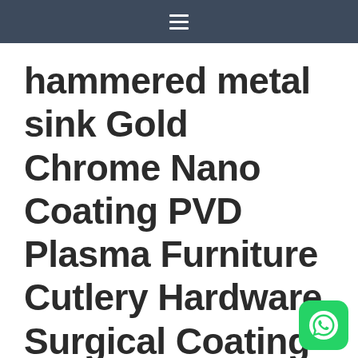☰
hammered metal sink Gold Chrome Nano Coating PVD Plasma Furniture Cutlery Hardware Surgical Coating Service in